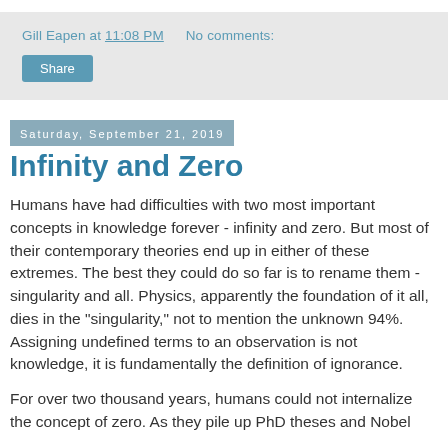Gill Eapen at 11:08 PM    No comments:
Saturday, September 21, 2019
Infinity and Zero
Humans have had difficulties with two most important concepts in knowledge forever - infinity and zero. But most of their contemporary theories end up in either of these extremes. The best they could do so far is to rename them - singularity and all. Physics, apparently the foundation of it all, dies in the "singularity," not to mention the unknown 94%. Assigning undefined terms to an observation is not knowledge, it is fundamentally the definition of ignorance.
For over two thousand years, humans could not internalize the concept of zero. As they pile up PhD theses and Nobel